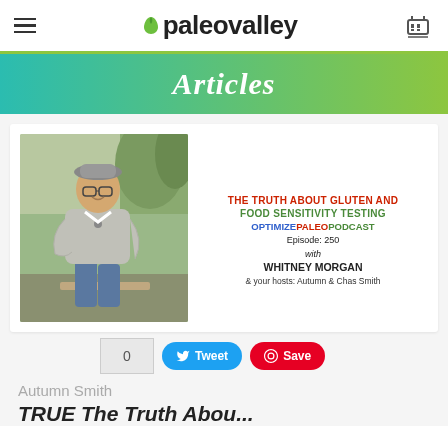paleovalley
Articles
[Figure (photo): Woman wearing a grey hat and glasses, sitting outdoors in a casual pose, wearing a grey sweater and jeans]
THE TRUTH ABOUT GLUTEN AND FOOD SENSITIVITY TESTING
OPTIMIZEPALEOPODCAST
Episode: 250
with
WHITNEY MORGAN
& your hosts: Autumn & Chas Smith
0
Tweet
Save
Autumn Smith
TRUE The Truth Abou...